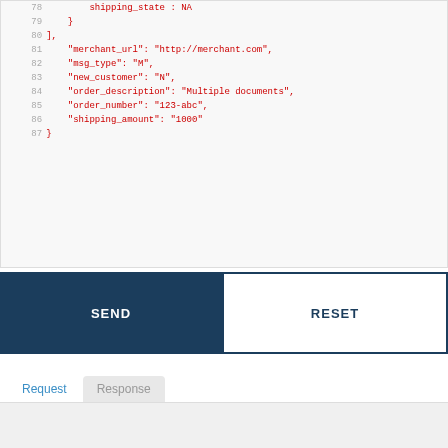[Figure (screenshot): Code editor showing JSON lines 78-87 with red monospace text on light gray background, with line numbers in gray.]
[Figure (screenshot): UI with two buttons: SEND (dark navy filled) and RESET (white with navy border outline), side by side.]
[Figure (screenshot): Tab bar with active 'Request' tab in blue and inactive 'Response' tab in gray, followed by a gray response panel.]